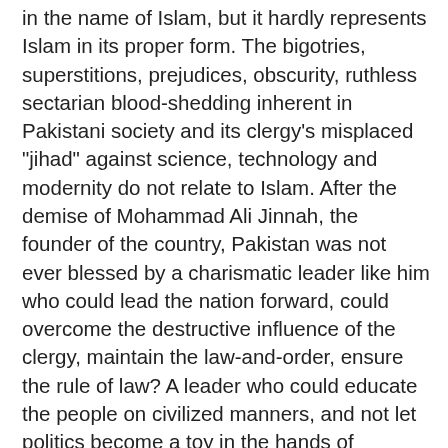in the name of Islam, but it hardly represents Islam in its proper form. The bigotries, superstitions, prejudices, obscurity, ruthless sectarian blood-shedding inherent in Pakistani society and its clergy's misplaced "jihad" against science, technology and modernity do not relate to Islam. After the demise of Mohammad Ali Jinnah, the founder of the country, Pakistan was not ever blessed by a charismatic leader like him who could lead the nation forward, could overcome the destructive influence of the clergy, maintain the law-and-order, ensure the rule of law? A leader who could educate the people on civilized manners, and not let politics become a toy in the hands of religious leaders and feudal lords. No such ideological wisdom could be developed that could save the nation from the dangers of political Islam and make everyone aware of the importance of modern science and technology. No leadership today has the guts and willpower to focus on real issues like health and education instead of spending more and more on the army and weapons. And it is not only limited to Pakistan, but all the Islamic countries, save a few mentioned above■ They are suffering from these illnesses and flaws, so Islam cannot be blamed for Muslim backwardness and Muslims lagging